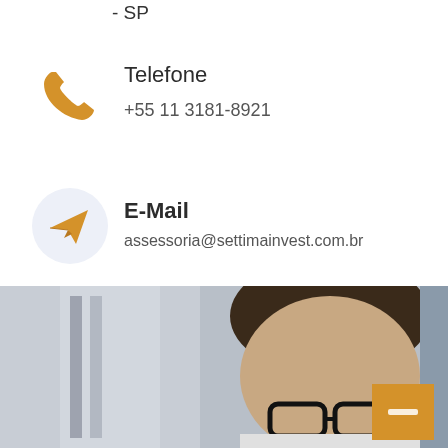- SP
[Figure (illustration): Golden telephone handset icon]
Telefone
+55 11 3181-8921
[Figure (illustration): Paper airplane send icon inside a light blue circle]
E-Mail
assessoria@settimainvest.com.br
[Figure (photo): Man with glasses looking down in a business setting, partial view cropped at bottom of page with an orange button overlay in the bottom right]